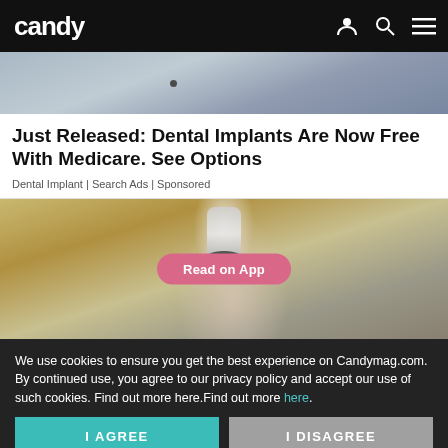candy
[Figure (photo): Cropped photo of a person in a gray sleeveless shirt with a small dark mark on their arm]
Just Released: Dental Implants Are Now Free With Medicare. See Options
Dental Implant | Search Ads | Sponsored
[Figure (photo): Photo of a hand holding a white device that resembles a smart light bulb with a round button, on a wooden background. A pink 'Read on App' button overlay is visible.]
We use cookies to ensure you get the best experience on Candymag.com. By continued use, you agree to our privacy policy and accept our use of such cookies. Find out more here.Find out more here.
I AGREE
I DISAGREE